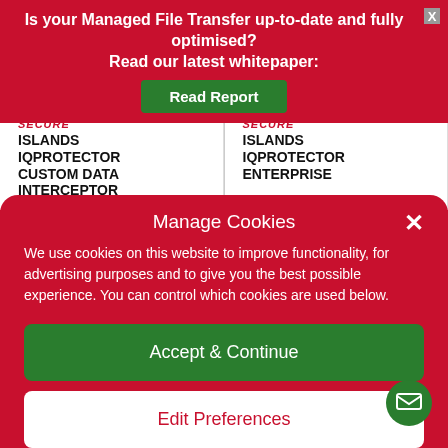Is your Managed File Transfer up-to-date and fully optimised? Read our latest whitepaper:
Read Report
SECURE ISLANDS IQPROTECTOR CUSTOM DATA INTERCEPTOR
SECURE ISLANDS IQPROTECTOR ENTERPRISE
Manage Cookies
We use cookies on this website to improve functionality, for advertising purposes and to give you the best possible experience. You can control which cookies are used below.
Accept & Continue
Edit Preferences
Cookie Policy  Privacy Statement